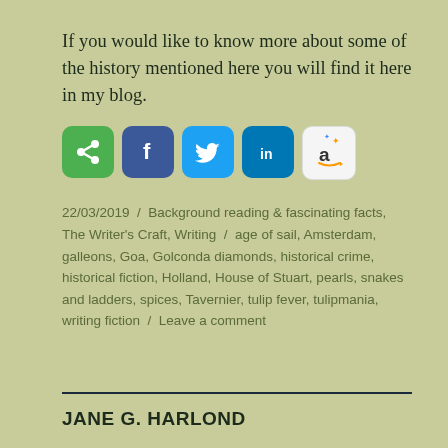If you would like to know more about some of the history mentioned here you will find it here in my blog.
[Figure (infographic): Row of social media sharing icons: green share icon, Facebook (blue f), Twitter (blue bird), LinkedIn (blue in), Amazon (white a with sparkles)]
22/03/2019 / Background reading & fascinating facts, The Writer's Craft, Writing / age of sail, Amsterdam, galleons, Goa, Golconda diamonds, historical crime, historical fiction, Holland, House of Stuart, pearls, snakes and ladders, spices, Tavernier, tulip fever, tulipmania, writing fiction / Leave a comment
JANE G. HARLOND